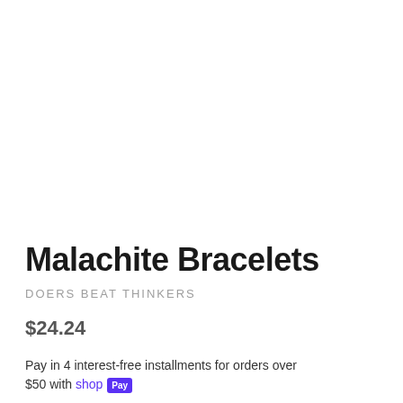Malachite Bracelets
DOERS BEAT THINKERS
$24.24
Pay in 4 interest-free installments for orders over $50 with shop